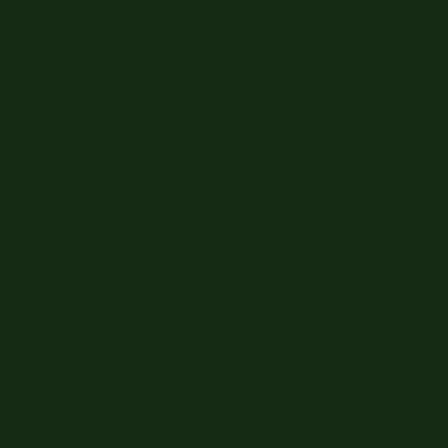[Figure (other): Dark green rectangular panel occupying the left portion of the page]
Directive in the monitoring of s... aspects of this problem from d... ecostat). The project is based o... Republic and it is carried out u... the CR. The important part of t... implementation of a Czech app... waters using an analysis of mo... based on a network of referenc... environmental and biological c... presented is compatible with th... information system of the ecolo... ecological state in ARROW pro... predecessor is TRITON projec... watercourses under collaboratio... Czech Republic which has bee... and especially reference datas... scientific background for biomd... and robust and could be adopt... All levels of the process are co... by experts; their computations ... methods, some of them newly ...